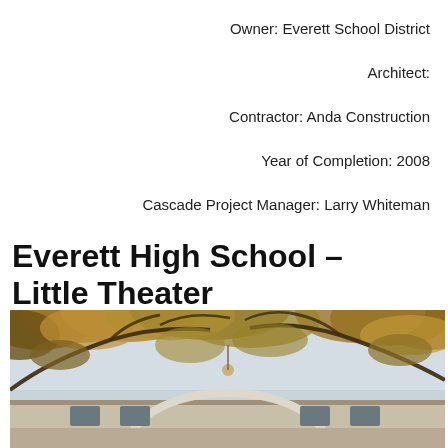Owner: Everett School District
Architect:
Contractor: Anda Construction
Year of Completion: 2008
Cascade Project Manager: Larry Whiteman
Everett High School – Little Theater
[Figure (photo): Exterior photo of Everett High School Little Theater building, seen through autumn tree branches with orange and yellow foliage, building visible below with a curved architectural element.]